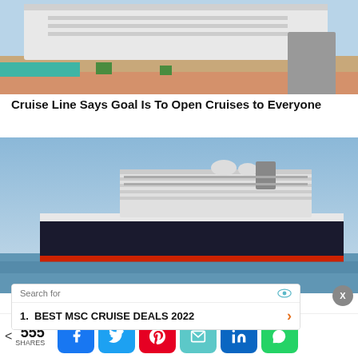[Figure (photo): Cruise ship docked at a tropical port with paved walkway and palm trees]
Cruise Line Says Goal Is To Open Cruises to Everyone
[Figure (photo): Large cruise ship at sea with blue sky background]
Search for  1. BEST MSC CRUISE DEALS 2022
< 555 SHARES [Facebook] [Twitter] [Pinterest] [Email] [LinkedIn] [WhatsApp]